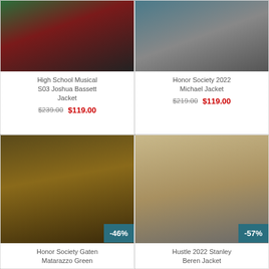[Figure (photo): Person wearing a green and dark red jacket - High School Musical S03 Joshua Bassett Jacket product photo]
High School Musical S03 Joshua Bassett Jacket
$239.00  $119.00
[Figure (photo): Person wearing a grey jacket with arms crossed - Honor Society 2022 Michael Jacket product photo]
Honor Society 2022 Michael Jacket
$219.00  $119.00
[Figure (photo): Person wearing olive/brown jacket at a restaurant counter - Honor Society Gaten Matarazzo Green product photo, -46% badge]
Honor Society Gaten Matarazzo Green
[Figure (photo): Man in beige/khaki jacket standing on street - Hustle 2022 Stanley Beren Jacket product photo, -57% badge]
Hustle 2022 Stanley Beren Jacket